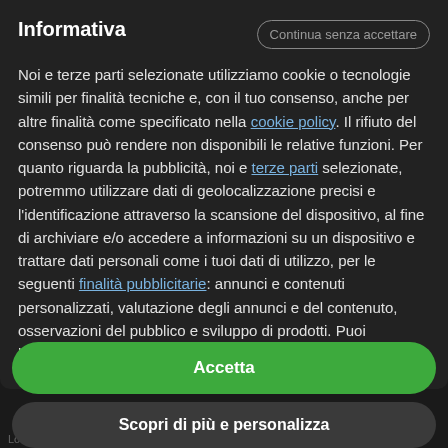Informativa
Noi e terze parti selezionate utilizziamo cookie o tecnologie simili per finalità tecniche e, con il tuo consenso, anche per altre finalità come specificato nella cookie policy. Il rifiuto del consenso può rendere non disponibili le relative funzioni. Per quanto riguarda la pubblicità, noi e terze parti selezionate, potremmo utilizzare dati di geolocalizzazione precisi e l'identificazione attraverso la scansione del dispositivo, al fine di archiviare e/o accedere a informazioni su un dispositivo e trattare dati personali come i tuoi dati di utilizzo, per le seguenti finalità pubblicitarie: annunci e contenuti personalizzati, valutazione degli annunci e del contenuto, osservazioni del pubblico e sviluppo di prodotti. Puoi liberamente prestare, rifiutare o revocare il tuo consenso, in qualsiasi momento, accedendo al pannello delle
Accetta
Scopri di più e personalizza
Londra, Ashbourne, Aberystwyth, Abergavenny, Aberdaron, Ardluss, Amble